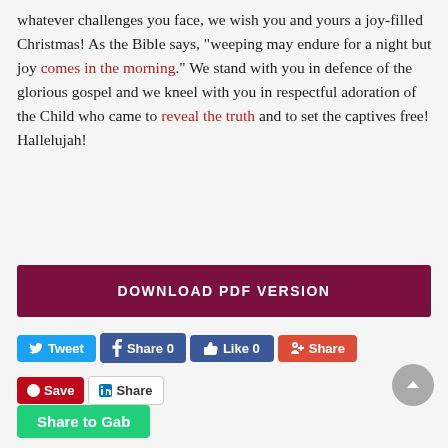whatever challenges you face, we wish you and yours a joy-filled Christmas! As the Bible says, “weeping may endure for a night but joy comes in the morning.” We stand with you in defence of the glorious gospel and we kneel with you in respectful adoration of the Child who came to reveal the truth and to set the captives free! Hallelujah!
DOWNLOAD PDF VERSION
Tweet  Share 0  Like 0  Share  Save  Share  Share to Gab